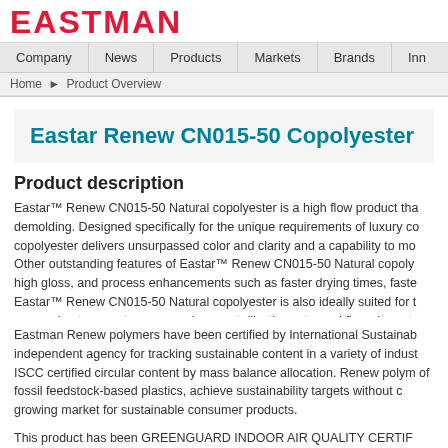EASTMAN
Company | News | Products | Markets | Brands | Inn
Home > Product Overview
Eastar Renew CN015-50 Copolyester - Na
Product description
Eastar™ Renew CN015-50 Natural copolyester is a high flow product that... demolding. Designed specifically for the unique requirements of luxury co... copolyester delivers unsurpassed color and clarity and a capability to mo... Other outstanding features of Eastar™ Renew CN015-50 Natural copoly... high gloss, and process enhancements such as faster drying times, faste... Eastar™ Renew CN015-50 Natural copolyester is also ideally suited for t... processing temperatures, very slow crystallization rate, and flow characte...
Eastman Renew polymers have been certified by International Sustainab... independent agency for tracking sustainable content in a variety of indust... ISCC certified circular content by mass balance allocation. Renew polym... of fossil feedstock-based plastics, achieve sustainability targets without c... growing market for sustainable consumer products.
This product has been GREENGUARD INDOOR AIR QUALITY CERTIF...